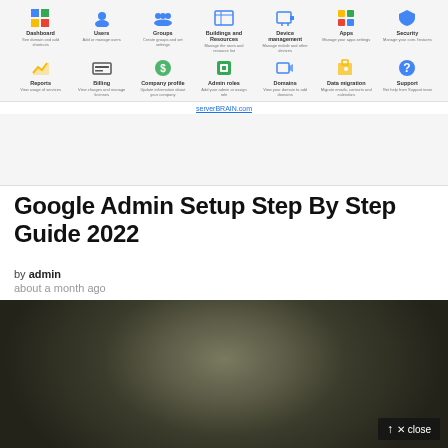[Figure (screenshot): Google Admin console screenshot showing a grid of admin modules including Dashboard, Users, Groups, Buildings and Resources, Device management, Apps, Security, Reports, Billing, Company profile, Admin roles, Domains, Data migration, Support — each with a colored icon and short description. The URL bar shows serverBRAIN.com]
Google Admin Setup Step By Step Guide 2022
by admin
about a month ago
[Figure (photo): Close-up photo of a stone or rock sculpture, showing rough textured surface in dark olive/gray tones, likely a bust or statue viewed from the side/back]